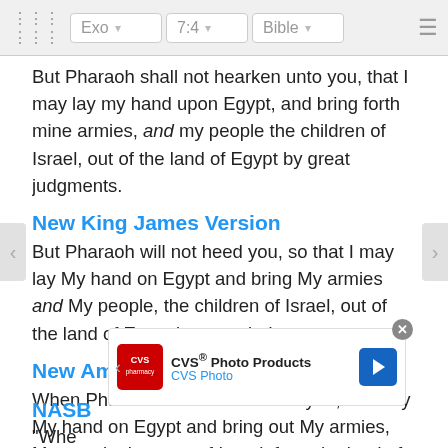Exo 7:4 Bible
But Pharaoh shall not hearken unto you, that I may lay my hand upon Egypt, and bring forth mine armies, and my people the children of Israel, out of the land of Egypt by great judgments.
New King James Version
But Pharaoh will not heed you, so that I may lay My hand on Egypt and bring My armies and My people, the children of Israel, out of the land of Egypt by great judgments.
New American Standard Bible
When Pharaoh does not listen to you, I will lay My hand on Egypt and bring out My armies, My people the sons of Israel, from the land of Egypt by great judgments.
[Figure (screenshot): CVS Photo Products advertisement banner with CVS Pharmacy logo]
NASB
"Whe... ...ll lay